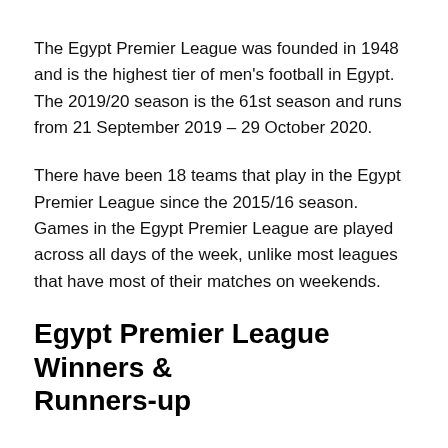The Egypt Premier League was founded in 1948 and is the highest tier of men's football in Egypt. The 2019/20 season is the 61st season and runs from 21 September 2019 – 29 October 2020.
There have been 18 teams that play in the Egypt Premier League since the 2015/16 season. Games in the Egypt Premier League are played across all days of the week, unlike most leagues that have most of their matches on weekends.
Egypt Premier League Winners & Runners-up